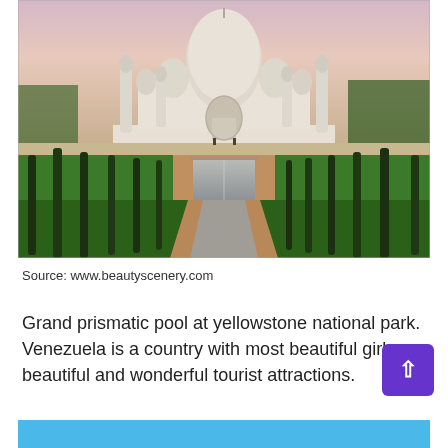[Figure (photo): Taj Mahal viewed from the front garden with reflecting pool and cypress trees lining the pathway, at dusk/dawn with pink-purple sky]
Source: www.beautyscenery.com
Grand prismatic pool at yellowstone national park. Venezuela is a country with most beautiful girls, beautiful and wonderful tourist attractions.